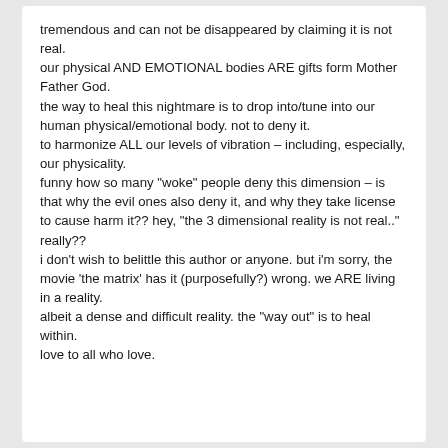tremendous and can not be disappeared by claiming it is not real.
our physical AND EMOTIONAL bodies ARE gifts form Mother Father God.
the way to heal this nightmare is to drop into/tune into our human physical/emotional body. not to deny it.
to harmonize ALL our levels of vibration – including, especially, our physicality.
funny how so many "woke" people deny this dimension – is that why the evil ones also deny it, and why they take license to cause harm it?? hey, "the 3 dimensional reality is not real.."
really??
i don't wish to belittle this author or anyone. but i'm sorry, the movie 'the matrix' has it (purposefully?) wrong. we ARE living in a reality.
albe it a dense and difficult reality. the "way out" is to heal within.
love to all who love.